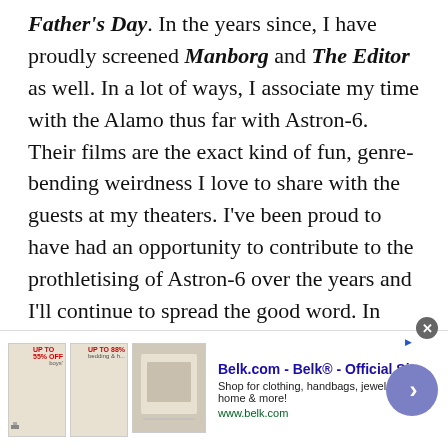Father's Day. In the years since, I have proudly screened Manborg and The Editor as well. In a lot of ways, I associate my time with the Alamo thus far with Astron-6. Their films are the exact kind of fun, genre-bending weirdness I love to share with the guests at my theaters. I've been proud to have had an opportunity to contribute to the prothletising of Astron-6 over the years and I'll continue to spread the good word. In writing this obituary for the group, I have decided to program a retrospective of their films as part of Graveyard Shift, the weekly horror series I program in Houston, later this year.
[Figure (other): Advertisement banner for Belk.com showing product thumbnails, ad text 'Belk.com - Belk® - Official Site', description 'Shop for clothing, handbags, jewelry, beauty, home & more!', URL 'www.belk.com', with a purple arrow button and close button.]